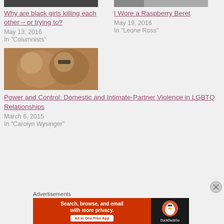[Figure (photo): Partial image at top left, dark tones]
Why are black girls killing each other – or trying to?
May 13, 2016
In "Columnists"
[Figure (photo): Partial image at top right, grayscale]
I Wore a Raspberry Beret
May 19, 2016
In "Leone Ross"
[Figure (photo): Two women about to kiss, one wearing glasses]
Power and Control: Domestic and Intimate-Partner Violence in LGBTQ Relationships
March 6, 2015
In "Carolyn Wysinger"
Advertisements
[Figure (screenshot): DuckDuckGo advertisement banner: Search, browse, and email with more privacy. All in One Free App]